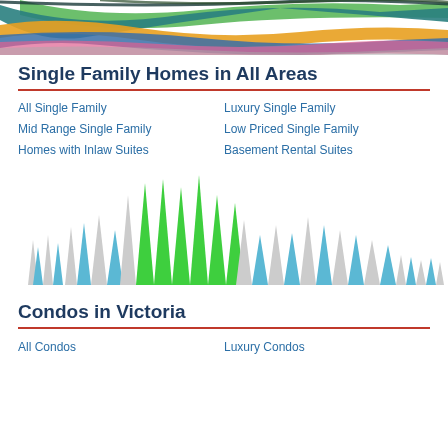[Figure (illustration): Decorative header graphic with colorful swooping ribbon shapes in green, orange, teal, blue, pink, and grey on white background]
Single Family Homes in All Areas
All Single Family
Luxury Single Family
Mid Range Single Family
Low Priced Single Family
Homes with Inlaw Suites
Basement Rental Suites
[Figure (infographic): Decorative chart-like graphic showing triangular spike shapes in grey, blue, and green arranged in an arch/skyline pattern]
Condos in Victoria
All Condos
Luxury Condos